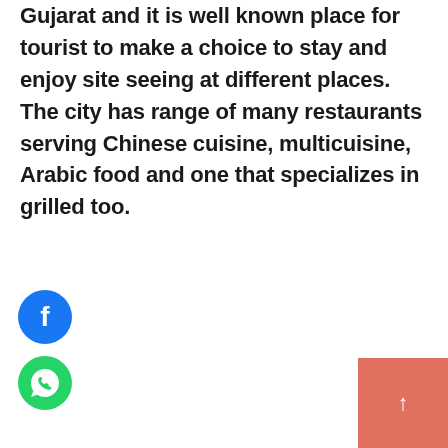Gujarat and it is well known place for tourist to make a choice to stay and enjoy site seeing at different places. The city has range of many restaurants serving Chinese cuisine, multicuisine, Arabic food and one that specializes in grilled too.
[Figure (logo): Facebook social media icon — blue circle with white Facebook 'f' logo]
[Figure (logo): WhatsApp social media icon — green circle with white WhatsApp phone/chat logo]
[Figure (other): Salmon/coral colored square button in bottom-right corner with a white upward arrow, indicating scroll to top]